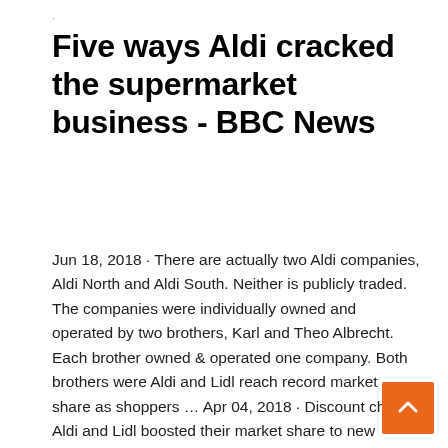·
Five ways Aldi cracked the supermarket business - BBC News
Jun 18, 2018 · There are actually two Aldi companies, Aldi North and Aldi South. Neither is publicly traded. The companies were individually owned and operated by two brothers, Karl and Theo Albrecht. Each brother owned & operated one company. Both brothers were Aldi and Lidl reach record market share as shoppers ... Apr 04, 2018 · Discount chains Aldi and Lidl boosted their market share to new record highs of 7.3 per cent and 5.3 per cent respectively in the last quarter, new figures show. Sainsbury's and Asda both lost Aldi UK reports first profit rise in four years - Reuters Oct 01, 2018 · The British business of German discount supermarket Aldi reported its first rise in annual operating profit for four years on Monday as it opened more stores and attracted over 1 million new.